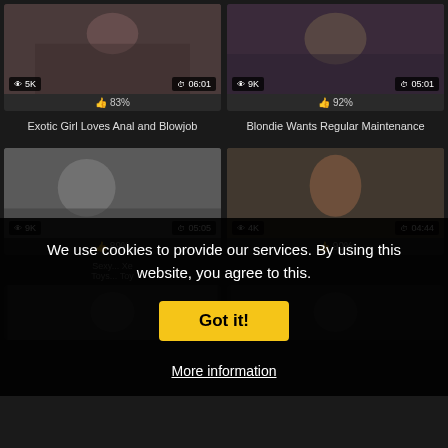[Figure (photo): Video thumbnail showing a woman in black lingerie, views: 5K, duration: 06:01]
83%
Exotic Girl Loves Anal and Blowjob
[Figure (photo): Video thumbnail showing two people, views: 9K, duration: 05:01]
92%
Blondie Wants Regular Maintenance
[Figure (photo): Video thumbnail showing a brunette woman, views: 9K, duration: 05:05]
89%
[Figure (photo): Video thumbnail showing a redhead woman, views: 4K, duration: 04:44]
90%
We use cookies to provide our services. By using this website, you agree to this.
Got it!
More information